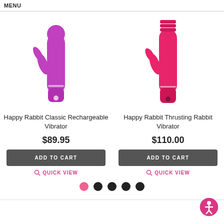MENU
[Figure (photo): Happy Rabbit Classic Rechargeable Vibrator - purple/magenta colored rabbit vibrator product photo]
Happy Rabbit Classic Rechargeable Vibrator
$89.95
ADD TO CART
QUICK VIEW
[Figure (photo): Happy Rabbit Thrusting Rabbit Vibrator - hot pink/fuchsia rabbit vibrator product photo]
Happy Rabbit Thrusting Rabbit Vibrator
$110.00
ADD TO CART
QUICK VIEW
[Figure (other): Pagination dots: one pink dot and four black dots]